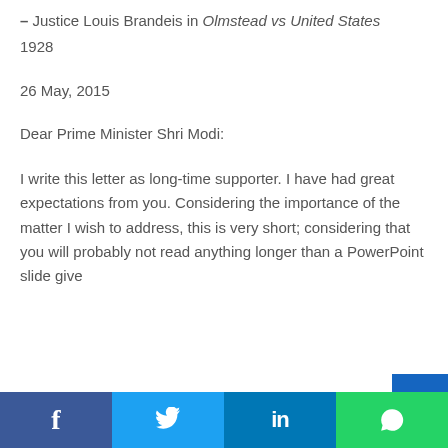– Justice Louis Brandeis in Olmstead vs United States 1928
26 May, 2015
Dear Prime Minister Shri Modi:
I write this letter as long-time supporter. I have had great expectations from you. Considering the importance of the matter I wish to address, this is very short; considering that you will probably not read anything longer than a PowerPoint slide give
Facebook Twitter LinkedIn WhatsApp